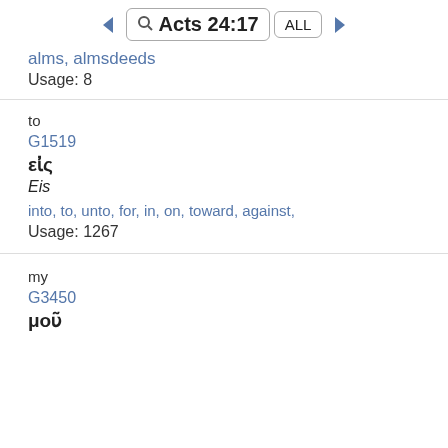Acts 24:17
alms, almsdeeds
Usage: 8
to
G1519
εἰς
Eis
into, to, unto, for, in, on, toward, against,
Usage: 1267
my
G3450
μοῦ